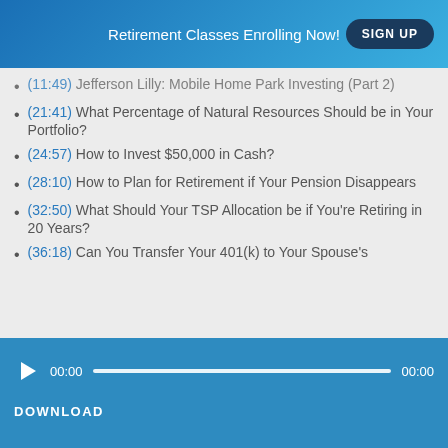Retirement Classes Enrolling Now! SIGN UP
(11:49) Jefferson Lilly: Mobile Home Park Investing (Part 2)
(21:41) What Percentage of Natural Resources Should be in Your Portfolio?
(24:57) How to Invest $50,000 in Cash?
(28:10) How to Plan for Retirement if Your Pension Disappears
(32:50) What Should Your TSP Allocation be if You're Retiring in 20 Years?
(36:18) Can You Transfer Your 401(k) to Your Spouse's
[Figure (other): Audio player with play button, progress bar showing 00:00 / 00:00, and DOWNLOAD link below]